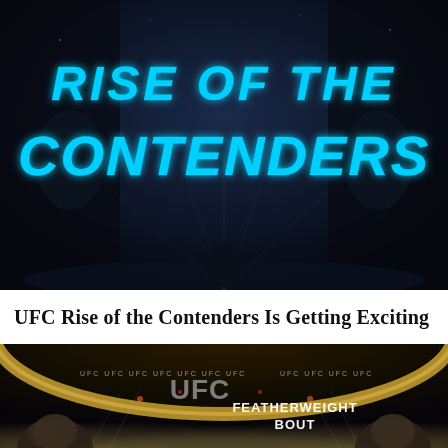[Figure (photo): Dark promotional graphic with neon blue glowing text reading 'RISE OF THE CONTENDERS' against a dark arena background with spotlights and crowd silhouettes]
UFC Rise of the Contenders Is Getting Exciting
[Figure (photo): UFC arena shot showing two fighters at the bottom of the frame with the UFC logo and 'FEATHERWEIGHT BOUT' text overlay, golden overhead ring structure visible with arena lights]